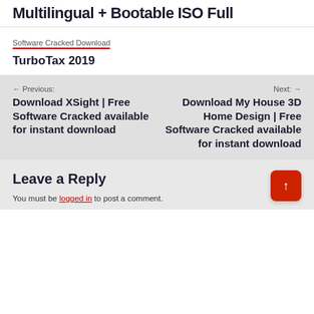Multilingual + Bootable ISO Full
Software Cracked Download
TurboTax 2019
Previous: Download XSight | Free Software Cracked available for instant download
Next: Download My House 3D Home Design | Free Software Cracked available for instant download
Leave a Reply
You must be logged in to post a comment.